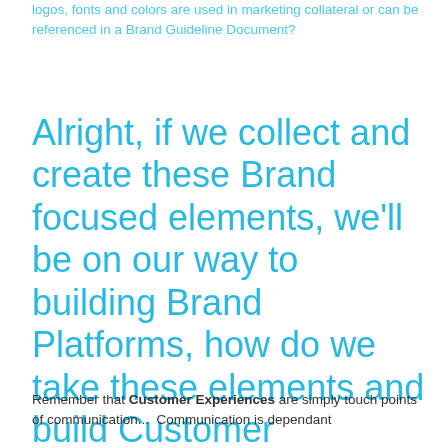logos, fonts and colors are used in marketing collateral or can be referenced in a Brand Guideline Document?
Alright, if we collect and create these Brand focused elements, we'll be on our way to building Brand Platforms, how do we take these elements and build Customer Experience?
Remember that Customer Experiences are simply touch points of communication...  Communication is dependant